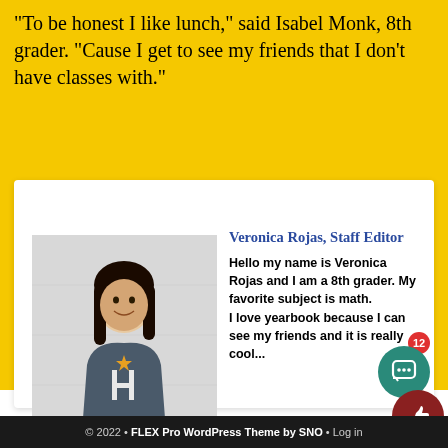“To be honest I like lunch,” said Isabel Monk, 8th grader. “Cause I get to see my friends that I don’t have classes with.”
[Figure (photo): Photo of Veronica Rojas, a smiling female student wearing a Houston Astros t-shirt, standing against a white brick wall.]
Veronica Rojas, Staff Editor
Hello my name is Veronica Rojas and I am a 8th grader. My favorite subject is math.
I love yearbook because I can see my friends and it is really cool...
© 2022 • FLEX Pro WordPress Theme by SNO • Log in